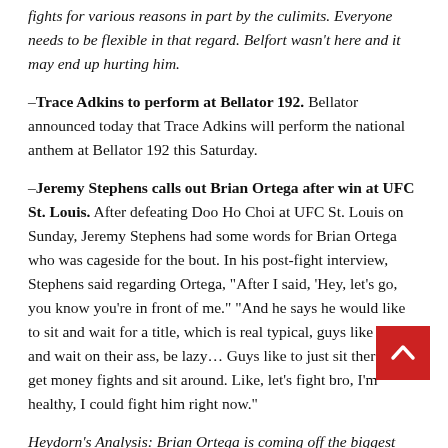fights for various reasons in part by the culimits. Everyone needs to be flexible in that regard. Belfort wasn't here and it may end up hurting him.
–Trace Adkins to perform at Bellator 192. Bellator announced today that Trace Adkins will perform the national anthem at Bellator 192 this Saturday.
–Jeremy Stephens calls out Brian Ortega after win at UFC St. Louis. After defeating Doo Ho Choi at UFC St. Louis on Sunday, Jeremy Stephens had some words for Brian Ortega who was cageside for the bout. In his post-fight interview, Stephens said regarding Ortega, “After I said, ‘Hey, let’s go, you know you’re in front of me.” “And he says he would like to sit and wait for a title, which is real typical, guys like to sit and wait on their ass, be lazy… Guys like to just sit there and get money fights and sit around. Like, let’s fight bro, I’m healthy, I could fight him right now.”
Heydorn’s Analysis: Brian Ortega is coming off the biggest … his career in defeating Cub Swanson. The smart business move is